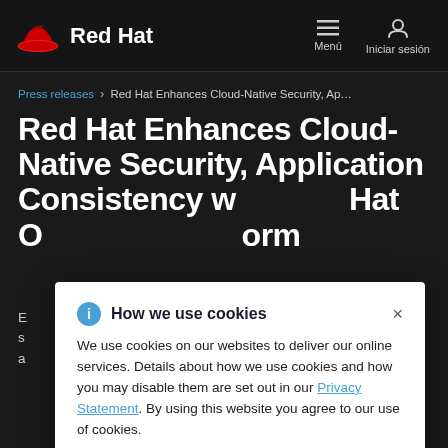Red Hat | Menú | Iniciar sesión
Press releases > Red Hat Enhances Cloud-Native Security, Ap…
Red Hat Enhances Cloud-Native Security, Application Consistency with Red Hat OpenShift Platform
E… container s… sistent a… deployments
How we use cookies

We use cookies on our websites to deliver our online services. Details about how we use cookies and how you may disable them are set out in our Privacy Statement. By using this website you agree to our use of cookies.